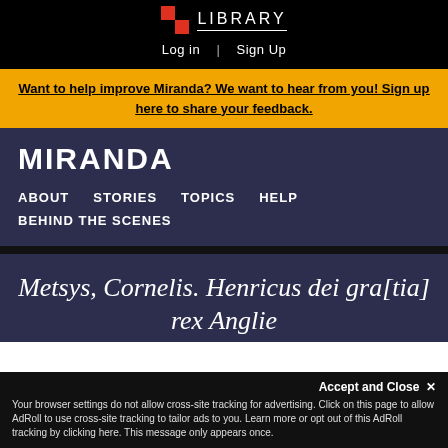LIBRARY | Log in | Sign Up
Want to help improve Miranda? We want to hear from you! Sign up here to share your feedback.
MIRANDA
ABOUT   STORIES   TOPICS   HELP   BEHIND THE SCENES
Metsys, Cornelis. Henricus dei gra[tia] rex Anglie
Your browser settings do not allow cross-site tracking for advertising. Click on this page to allow AdRoll to use cross-site tracking to tailor ads to you. Learn more or opt out of this AdRoll tracking by clicking here. This message only appears once.